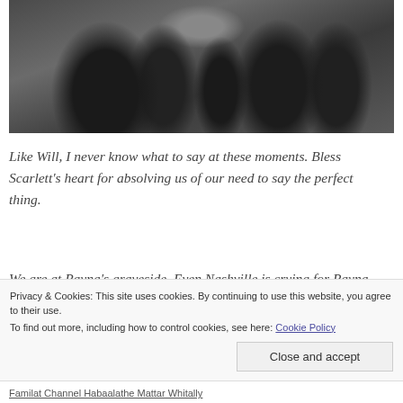[Figure (photo): A group of people dressed in black at a graveside funeral service, several holding white roses, one person holding a book, outdoors with muted natural background.]
Like Will, I never know what to say at these moments. Bless Scarlett's heart for absolving us of our need to say the perfect thing.
We are at Rayna's graveside. Even Nashville is crying for Rayna, and has released a flock of birds.
Privacy & Cookies: This site uses cookies. By continuing to use this website, you agree to their use.
To find out more, including how to control cookies, see here: Cookie Policy
Close and accept